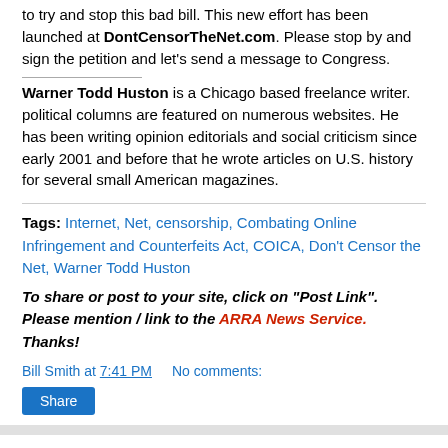to try and stop this bad bill. This new effort has been launched at DontCensorTheNet.com. Please stop by and sign the petition and let's send a message to Congress.
Warner Todd Huston is a Chicago based freelance writer. political columns are featured on numerous websites. He has been writing opinion editorials and social criticism since early 2001 and before that he wrote articles on U.S. history for several small American magazines.
Tags: Internet, Net, censorship, Combating Online Infringement and Counterfeits Act, COICA, Don't Censor the Net, Warner Todd Huston
To share or post to your site, click on "Post Link". Please mention / link to the ARRA News Service. Thanks!
Bill Smith at 7:41 PM   No comments:
Share
Fact Checking VP Biden On Premiums And Dropped Coverage